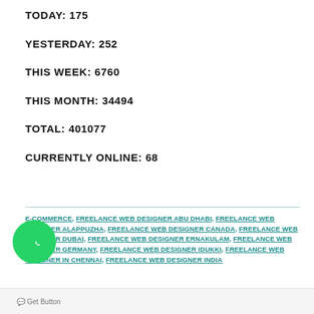TODAY: 175
YESTERDAY: 252
THIS WEEK: 6760
THIS MONTH: 34494
TOTAL: 401077
CURRENTLY ONLINE: 68
E-COMMERCE, FREELANCE WEB DESIGNER ABU DHABI, FREELANCE WEB DESIGNER ALAPPUZHA, FREELANCE WEB DESIGNER CANADA, FREELANCE WEB DESIGNER DUBAI, FREELANCE WEB DESIGNER ERNAKULAM, FREELANCE WEB DESIGNER GERMANY, FREELANCE WEB DESIGNER IDUKKI, FREELANCE WEB DESIGNER IN CHENNAI, FREELANCE WEB DESIGNER INDIA